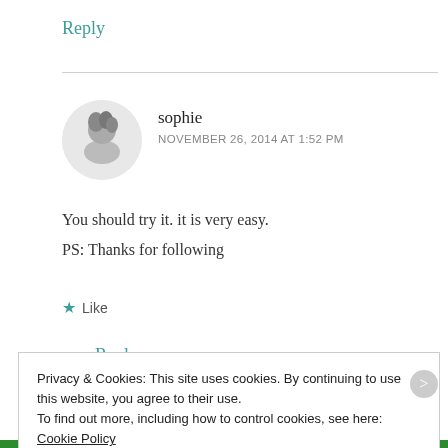Reply
[Figure (photo): Circular avatar photo of user sophie, showing a person with curly hair against a light grey background.]
sophie
NOVEMBER 26, 2014 AT 1:52 PM
You should try it. it is very easy.
PS: Thanks for following
★ Like
Reply
Privacy & Cookies: This site uses cookies. By continuing to use this website, you agree to their use. To find out more, including how to control cookies, see here: Cookie Policy
Close and accept